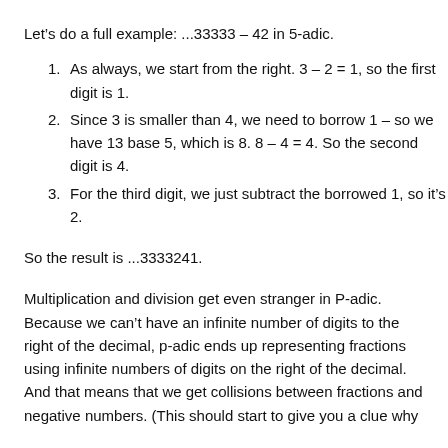Let's do a full example: ...33333 – 42 in 5-adic.
As always, we start from the right. 3 – 2 = 1, so the first digit is 1.
Since 3 is smaller than 4, we need to borrow 1 – so we have 13 base 5, which is 8. 8 – 4 = 4. So the second digit is 4.
For the third digit, we just subtract the borrowed 1, so it's 2.
So the result is ...3333241.
Multiplication and division get even stranger in P-adic. Because we can't have an infinite number of digits to the right of the decimal, p-adic ends up representing fractions using infinite numbers of digits on the right of the decimal. And that means that we get collisions between fractions and negative numbers. (This should start to give you a clue why